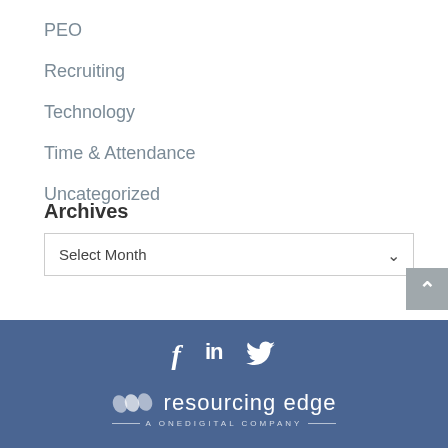PEO
Recruiting
Technology
Time & Attendance
Uncategorized
Archives
Select Month
resourcing edge — A ONEDIGITAL COMPANY